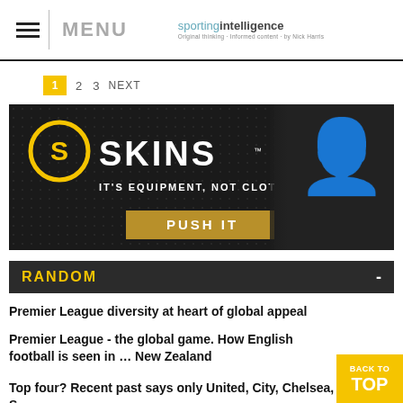MENU | sportingintelligence
1  2  3  NEXT
[Figure (photo): SKINS compression wear advertisement. Dark background with athlete. Text: SKINS IT'S EQUIPMENT, NOT CLOTHING. PUSH IT]
RANDOM
Premier League diversity at heart of global appeal
Premier League - the global game. How English football is seen in … New Zealand
Top four? Recent past says only United, City, Chelsea, S